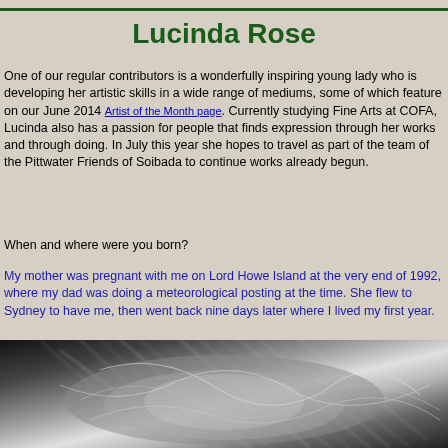Lucinda Rose
One of our regular contributors is a wonderfully inspiring young lady who is developing her artistic skills in a wide range of mediums, some of which feature on our June 2014 Artist of the Month page. Currently studying Fine Arts at COFA, Lucinda also has a passion for people that finds expression through her works and through doing. In July this year she hopes to travel as part of the team of the Pittwater Friends of Soibada to continue works already begun.
When and where were you born?
My mother was pregnant with me on Lord Howe Island at the very end of 1992, where my dad was doing a meteorological posting at the time. She flew to Sydney to have me, then went back nine days later where I lived my first year.
[Figure (photo): Black and white close-up photograph of tangled fibrous rope or natural fiber material]